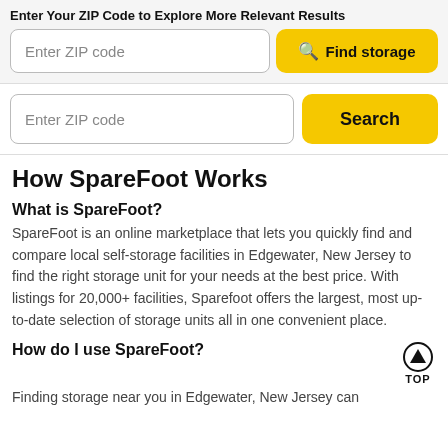Enter Your ZIP Code to Explore More Relevant Results
[Figure (screenshot): Search bar with placeholder 'Enter ZIP code' and yellow 'Find storage' button with magnifier icon]
[Figure (screenshot): Second search bar with placeholder 'Enter ZIP code' and yellow 'Search' button]
How SpareFoot Works
What is SpareFoot?
SpareFoot is an online marketplace that lets you quickly find and compare local self-storage facilities in Edgewater, New Jersey to find the right storage unit for your needs at the best price. With listings for 20,000+ facilities, Sparefoot offers the largest, most up-to-date selection of storage units all in one convenient place.
How do I use SpareFoot?
Finding storage near you in Edgewater, New Jersey can